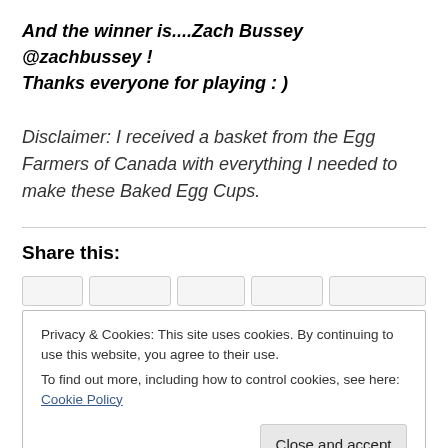And the winner is....Zach Bussey @zachbussey ! Thanks everyone for playing : )
Disclaimer: I received a basket from the Egg Farmers of Canada with everything I needed to make these Baked Egg Cups.
Share this:
Privacy & Cookies: This site uses cookies. By continuing to use this website, you agree to their use.
To find out more, including how to control cookies, see here: Cookie Policy